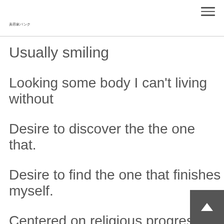美容家バンク
Usually smiling
Looking some body I can't living without
Desire to discover the the one that.
Desire to find the one that finishes myself.
Centered on religious progress and become of the maximum amount of